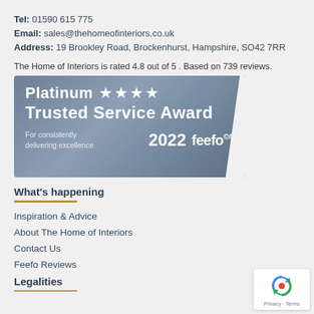Tel: 01590 615 775
Email: sales@thehomeofinteriors.co.uk
Address: 19 Brookley Road, Brockenhurst, Hampshire, SO42 7RR
The Home of Interiors is rated 4.8 out of 5 . Based on 739 reviews.
[Figure (logo): Platinum Trusted Service Award 2022 feefo badge with 4 stars, grey/blue gradient background, text: For consistently delivering excellence]
What's happening
Inspiration & Advice
About The Home of Interiors
Contact Us
Feefo Reviews
Legalities
[Figure (logo): Google reCAPTCHA badge with Privacy and Terms links]